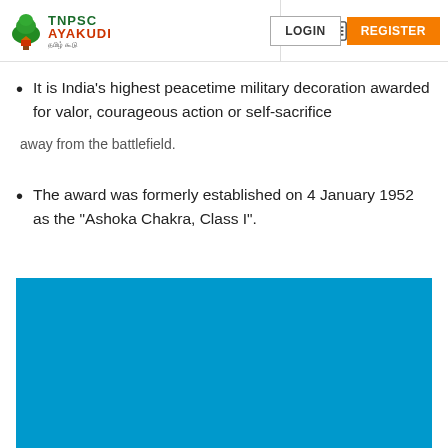TNPSC AYAKUDI — LOGIN | REGISTER
It is India's highest peacetime military decoration awarded for valor, courageous action or self-sacrifice
away from the battlefield.
The award was formerly established on 4 January 1952 as the "Ashoka Chakra, Class I".
[Figure (other): Blue rectangular image/media placeholder]